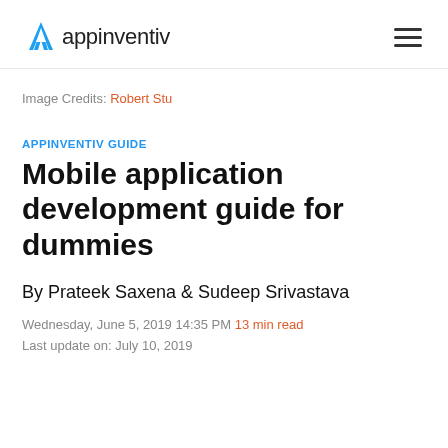appinventiv
Image Credits: Robert Stu
APPINVENTIV GUIDE
Mobile application development guide for dummies
By Prateek Saxena & Sudeep Srivastava
Wednesday, June 5, 2019 14:35 PM 13 min read
Last update on: July 10, 2019